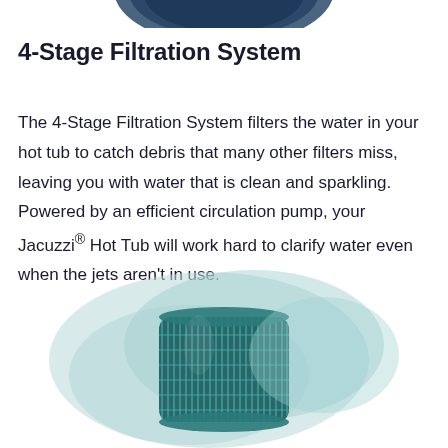[Figure (illustration): Partial top view of a blue/teal Jacuzzi hot tub, cropped at top of page]
4-Stage Filtration System
The 4-Stage Filtration System filters the water in your hot tub to catch debris that many other filters miss, leaving you with water that is clean and sparkling. Powered by an efficient circulation pump, your Jacuzzi® Hot Tub will work hard to clarify water even when the jets aren't in use.
[Figure (illustration): Illustration of a Jacuzzi hot tub filtration filter cartridge with teal/blue overlapping bubble shapes in the background representing water filtration stages]